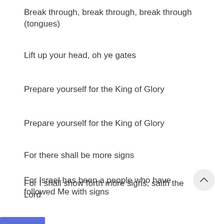Break through, break through, break through (tongues)
Lift up your head, oh ye gates
Prepare yourself for the King of Glory
Prepare yourself for the King of Glory
For there shall be more signs
For I shall show forth more signs, saith the Lord
For Israel has been a people who have followed Me with signs